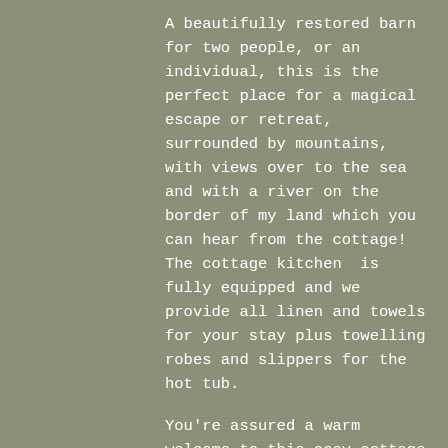A beautifully restored barn for two people, or an individual, this is the perfect place for a magical  escape or retreat, surrounded by mountains, with views over to the sea and with a river on the border of my land which you can hear from the cottage! The cottage kitchen  is fully equipped and we provide all linen and towels for your stay plus towelling robes and slippers for the hot tub.
You're assured a warm welcome to this cosy cottage